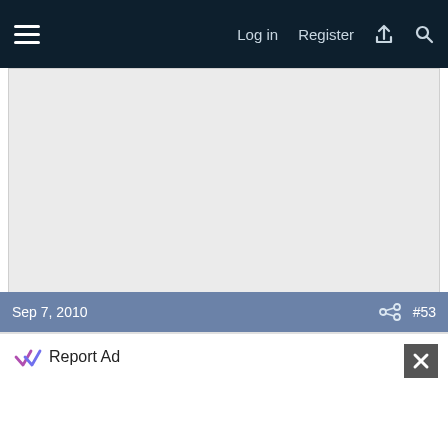Log in  Register
[Figure (screenshot): Advertisement placeholder area (light gray box)]
Report Ad
Sep 7, 2010  #53
Report Ad